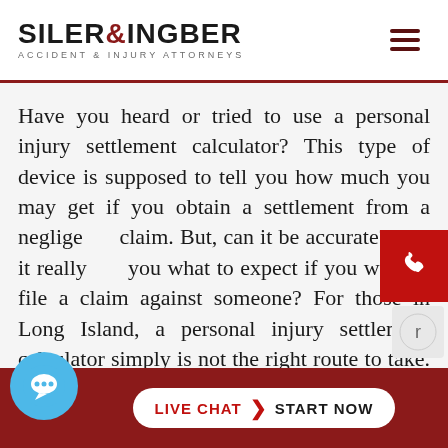[Figure (logo): Siler & Ingber Accident & Injury Attorneys logo with hamburger menu icon]
Have you heard or tried to use a personal injury settlement calculator? This type of device is supposed to tell you how much you may get if you obtain a settlement from a negligence claim. But, can it be accurate? Can it really tell you what to expect if you were to file a claim against someone? For those in Long Island, a personal injury settlement calculator simply is not the right route to take. A better solution is to contact an attorney who can help you to deter...wh...